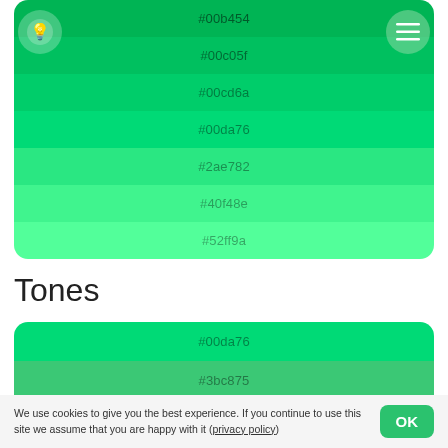[Figure (other): Color swatch card showing shades of green: #00b454, #00c05f, #00cd6a, #00da76, #2ae782, #40f48e, #52ff9a with lightbulb icon and menu icon overlay]
Tones
[Figure (other): Color swatch card (partial) showing tones of green: #00da76, #3bc875, #50b574]
We use cookies to give you the best experience. If you continue to use this site we assume that you are happy with it (privacy policy)